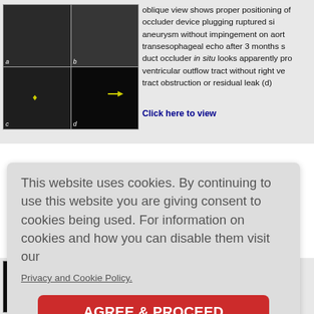[Figure (photo): Four-panel medical imaging figure (a,b,c,d): panels a and b appear to be fluoroscopy/angiography images, panel c shows angiography with yellow arrow marker, panel d shows transesophageal echocardiography image with yellow arrow]
oblique view shows proper positioning of occluder device plugging ruptured sinus aneurysm without impingement on aorta; transesophageal echo after 3 months shows duct occluder in situ looks apparently proper; ventricular outflow tract without right ventricular tract obstruction or residual leak (d)
Click here to view
This website uses cookies. By continuing to use this website you are giving consent to cookies being used. For information on cookies and how you can disable them visit our
Privacy and Cookie Policy.
AGREE & PROCEED
echo shows ruptured sinus 20°)
Click here to view